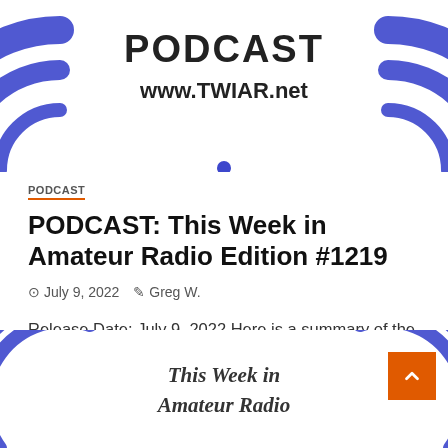[Figure (logo): This Week in Amateur Radio podcast logo with blue radio signal arcs, text 'PODCAST' and 'www.TWIAR.net' in center]
PODCAST
PODCAST: This Week in Amateur Radio Edition #1219
July 9, 2022   Greg W.
Release Date: July 9, 2022 Here is a summary of the news trending This Week in Amateur Radio. This week's...
[Figure (logo): This Week in Amateur Radio podcast logo bottom portion with blue radio signal arcs and text 'This Week in Amateur Radio']